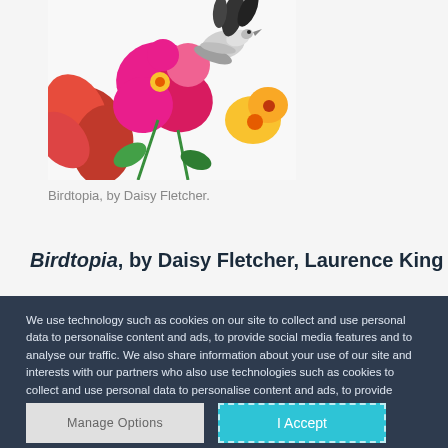[Figure (illustration): Colorful floral and bird illustration — Birdtopia by Daisy Fletcher — showing red, pink, magenta flowers and a grey/white bird on white background]
Birdtopia, by Daisy Fletcher.
Birdtopia, by Daisy Fletcher, Laurence King
We use technology such as cookies on our site to collect and use personal data to personalise content and ads, to provide social media features and to analyse our traffic. We also share information about your use of our site and interests with our partners who also use technologies such as cookies to collect and use personal data to personalise content and ads, to provide social media features and to analyse our traffic on our site and across the internet. You can always change your mind and revisit your choices.